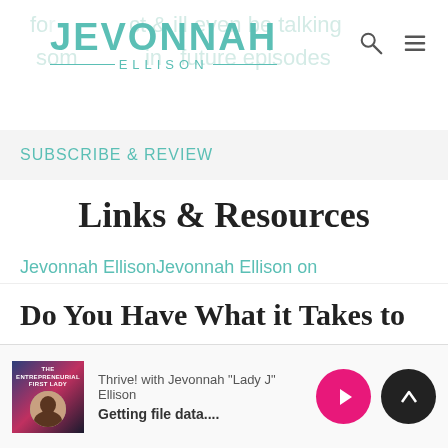JEVONNAH ELLISON
SUBSCRIBE & REVIEW
Links & Resources
Jevonnah EllisonJevonnah Ellison on FacebookThe Coaching CourseThrive MastermindDan MillerSuccess MagazineTom Corley Rich Habits by Tom CorleyThinkUp app
Do You Have What it Takes to
Thrive! with Jevonnah "Lady J" Ellison
Getting file data....